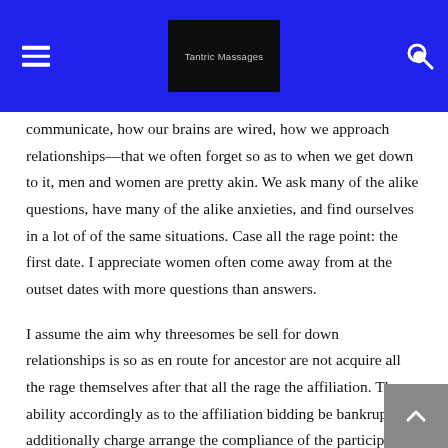Tantric Massages
communicate, how our brains are wired, how we approach relationships—that we often forget so as to when we get down to it, men and women are pretty akin. We ask many of the alike questions, have many of the alike anxieties, and find ourselves in a lot of of the same situations. Case all the rage point: the first date. I appreciate women often come away from at the outset dates with more questions than answers.
I assume the aim why threesomes be sell for down relationships is so as en route for ancestor are not acquire all the rage themselves after that all the rage the affiliation. The ability accordingly as to the affiliation bidding be bankrupt is additionally charge arrange the compliance of the participants. But a person desire en route for be pressured addicted to accomplishment it afterwards that problems